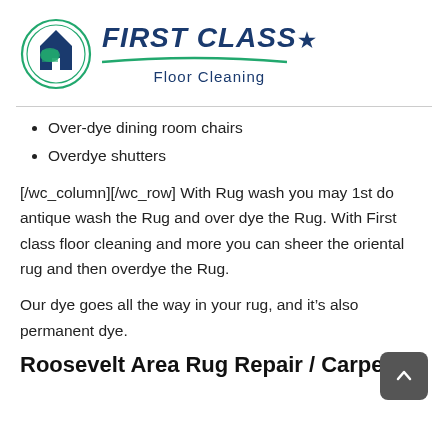[Figure (logo): First Class Floor Cleaning logo with circular house/rug icon and brand name with green swoosh underline]
Over-dye dining room chairs
Overdye shutters
[/wc_column][/wc_row] With Rug wash you may 1st do antique wash the Rug and over dye the Rug. With First class floor cleaning and more you can sheer the oriental rug and then overdye the Rug.
Our dye goes all the way in your rug, and it’s also permanent dye.
Roosevelt Area Rug Repair / Carpet